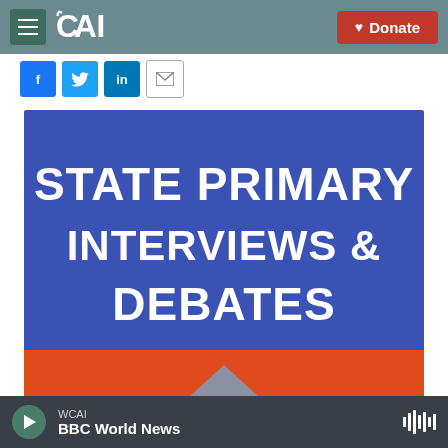CAI — Donate
[Figure (screenshot): CAI radio station website header with hamburger menu, CAI logo, and red Donate button]
[Figure (infographic): Social share icons: Facebook, Twitter, LinkedIn, Email]
[Figure (illustration): Promotional graphic with blue background reading STATE PRIMARY INTERVIEWS & DEBATES with red stripe at bottom and a chevron shape]
WCAI — BBC World News (audio player)